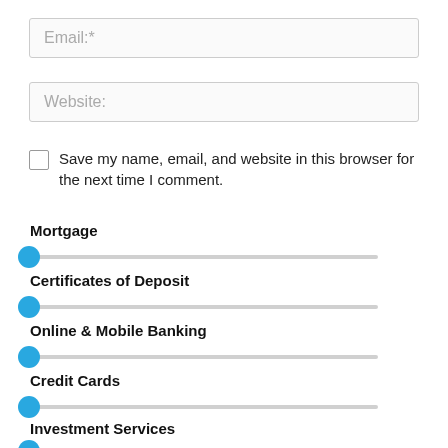Email:*
Website:
Save my name, email, and website in this browser for the next time I comment.
Mortgage
[Figure (other): Horizontal slider control for Mortgage, thumb at leftmost position]
Certificates of Deposit
[Figure (other): Horizontal slider control for Certificates of Deposit, thumb at leftmost position]
Online & Mobile Banking
[Figure (other): Horizontal slider control for Online & Mobile Banking, thumb at leftmost position]
Credit Cards
[Figure (other): Horizontal slider control for Credit Cards, thumb at leftmost position]
Investment Services
[Figure (other): Horizontal slider control for Investment Services, thumb at leftmost position]